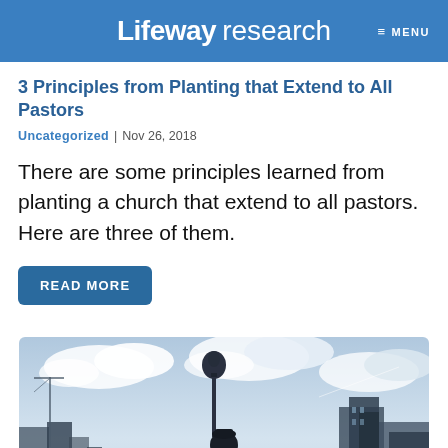Lifeway research  MENU
3 Principles from Planting that Extend to All Pastors
Uncategorized | Nov 26, 2018
There are some principles learned from planting a church that extend to all pastors. Here are three of them.
READ MORE
[Figure (photo): Person standing on a rooftop or elevated area, silhouetted against a cloudy sky, overlooking a city skyline with a tall communications tower visible.]